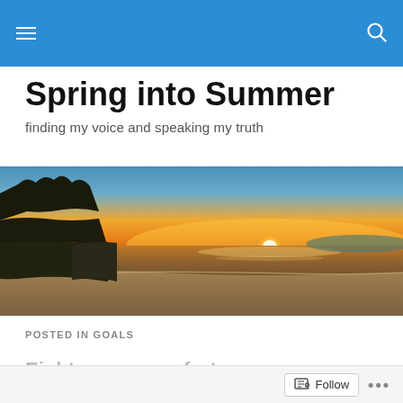Spring into Summer — navigation bar with hamburger menu and search icon
Spring into Summer
finding my voice and speaking my truth
[Figure (photo): Panoramic beach sunset photo with trees silhouetted on the left, sun setting on the horizon over calm ocean water, sandy beach in the foreground.]
POSTED IN GOALS
Follow   •••